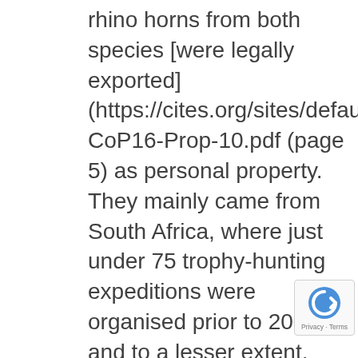rhino horns from both species [were legally exported] (https://cites.org/sites/default/files/fra/co CoP16-Prop-10.pdf (page 5) as personal property. They mainly came from South Africa, where just under 75 trophy-hunting expeditions were organised prior to 2006, and to a lesser extent, Namibia. Vietnam was the top importing country, ahead of the US, Spain and Russia.

After a sudden upsurge in requests for hunting permits from Vietnam, where it was discovered that rhino horns had been illegally sold, South African authorities in 2012 put an